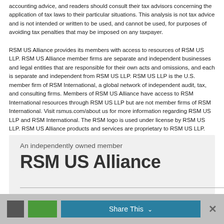accounting advice, and readers should consult their tax advisors concerning the application of tax laws to their particular situations. This analysis is not tax advice and is not intended or written to be used, and cannot be used, for purposes of avoiding tax penalties that may be imposed on any taxpayer.
RSM US Alliance provides its members with access to resources of RSM US LLP. RSM US Alliance member firms are separate and independent businesses and legal entities that are responsible for their own acts and omissions, and each is separate and independent from RSM US LLP. RSM US LLP is the U.S. member firm of RSM International, a global network of independent audit, tax, and consulting firms. Members of RSM US Alliance have access to RSM International resources through RSM US LLP but are not member firms of RSM International. Visit rsmus.com/about us for more information regarding RSM US LLP and RSM International. The RSM logo is used under license by RSM US LLP. RSM US Alliance products and services are proprietary to RSM US LLP.
[Figure (logo): RSM US Alliance logo box with tagline 'An independently owned member' and bold text 'RSM US Alliance' with a horizontal rule below]
Share This